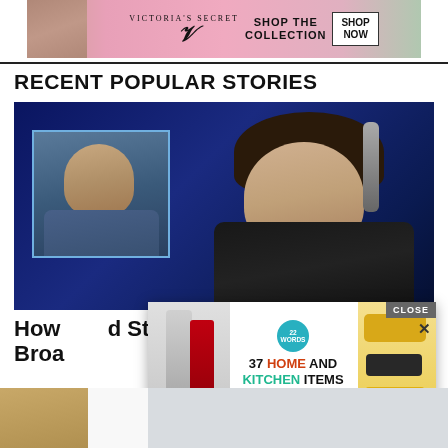[Figure (photo): Victoria's Secret advertisement banner with model and 'Shop The Collection / Shop Now' call to action]
RECENT POPULAR STORIES
[Figure (photo): Photo of two people: inset headshot of bald man (Joe Rogan) overlaid on background photo of curly-haired man with glasses at microphone (Howard Stern)]
How   d Stern With Dem D... Broa
[Figure (photo): Pop-up advertisement overlay: '37 Home and Kitchen Items Everyone Should Own' with Close button and X, showing kitchen gadgets and tools]